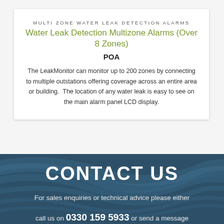MULTI ZONE WATER LEAK DETECTION ALARMS
Water Leak Detection Multizone Alarms (Over 8 Zones)
POA
The LeakMonitor can monitor up to 200 zones by connecting to multiple outstations offering coverage across an entire area or building. The location of any water leak is easy to see on the main alarm panel LCD display.
CONTACT US
For sales enquiries or technical advice please either
call us on 0330 159 5933 or send a message